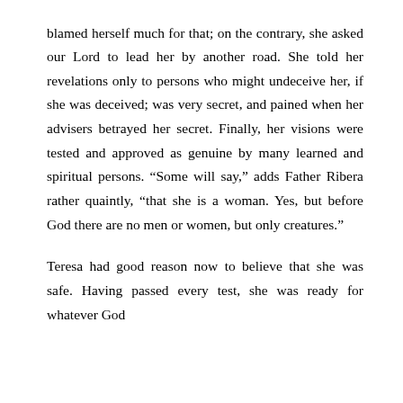blamed herself much for that; on the contrary, she asked our Lord to lead her by another road. She told her revelations only to persons who might undeceive her, if she was deceived; was very secret, and pained when her advisers betrayed her secret. Finally, her visions were tested and approved as genuine by many learned and spiritual persons. “Some will say,” adds Father Ribera rather quaintly, “that she is a woman. Yes, but before God there are no men or women, but only creatures.”
Teresa had good reason now to believe that she was safe. Having passed every test, she was ready for whatever God